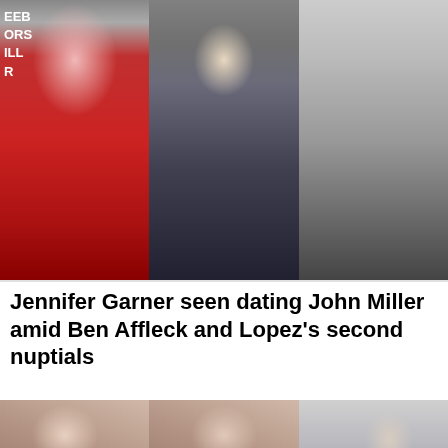[Figure (photo): Three-panel celebrity photo collage: left panel shows a woman in a red ball gown at an event with partial text EEB, ORS, ILL, RD visible; center panel shows a man in a gray hoodie jacket with white t-shirt and dark pants; right panel shows a couple on stairs, woman in white wedding dress.]
Jennifer Garner seen dating John Miller amid Ben Affleck and Lopez's second nuptials
[Figure (photo): Three-panel photo collage of a dark-haired woman (Victoria Beckham): left panel close-up glamour shot, center panel slightly different angle close-up, right panel full-body shot in a light-colored dress.]